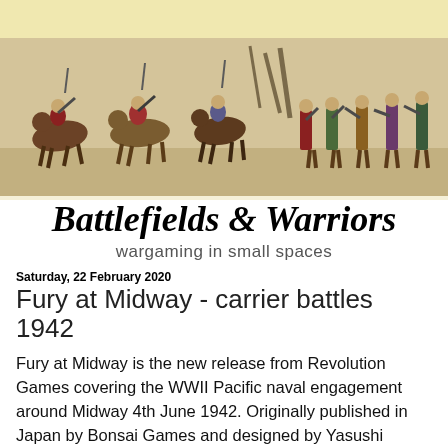[Figure (photo): Bayeux Tapestry-style medieval battle scene banner image showing soldiers on horseback and on foot, in muted earth tones]
Battlefields & Warriors
wargaming in small spaces
Saturday, 22 February 2020
Fury at Midway - carrier battles 1942
Fury at Midway is the new release from Revolution Games covering the WWII Pacific naval engagement around Midway 4th June 1942. Originally published in Japan by Bonsai Games and designed by Yasushi Nakaguro, it has been picked up by Revolution Games and developed by Roger Miller, who has